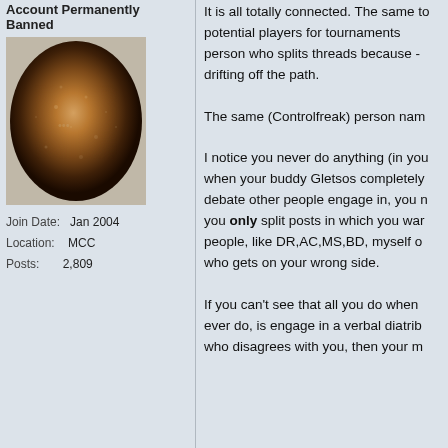Account Permanently Banned
[Figure (photo): Avatar image showing a spherical celestial body (moon-like) with brown/tan texture and speckled surface]
Join Date: Jan 2004
Location: MCC
Posts: 2,809
It is all totally connected. The same to potential players for tournaments person who splits threads because - drifting off the path.
The same (Controlfreak) person nam
I notice you never do anything (in you when your buddy Gletsos completely debate other people engage in, you n you only split posts in which you war people, like DR,AC,MS,BD, myself o who gets on your wrong side.
If you can't see that all you do when ever do, is engage in a verbal diatrib who disagrees with you, then your m
17-01-2005, 09:35 PM
firegoat7
Account Permanently Banned
[Figure (photo): Avatar image showing a spherical celestial body (moon-like) with brown/tan texture and speckled surface]
Originally Posted by Kevin Bor
Firegoat, firstly you are an idio jokers like you
Secondly, anything you say ... self-appointed shrink and faile heard some very illuminating